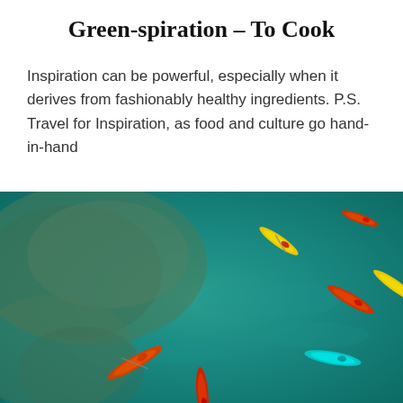Green-spiration – To Cook
Inspiration can be powerful, especially when it derives from fashionably healthy ingredients. P.S. Travel for Inspiration, as food and culture go hand-in-hand
[Figure (photo): Aerial view of multiple colorful kayaks (yellow, red/orange, cyan, and others) paddling on clear teal/turquoise water with visible rocky seabed beneath.]